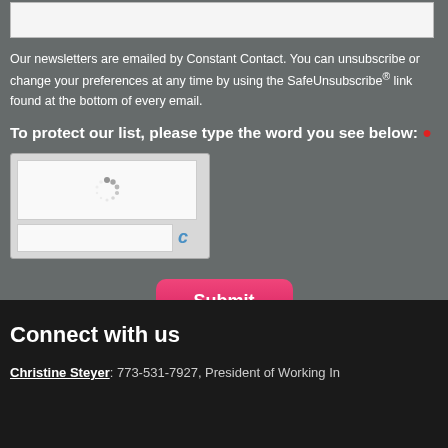Our newsletters are emailed by Constant Contact. You can unsubscribe or change your preferences at any time by using the SafeUnsubscribe® link found at the bottom of every email.
To protect our list, please type the word you see below: *
[Figure (screenshot): CAPTCHA widget with a loading spinner inside an image area and a text input field below it, with a partial Constant Contact icon visible to the right.]
[Figure (other): Pink/red Submit button with rounded corners.]
Connect with us
Christine Steyer: 773-531-7927, President of Working In